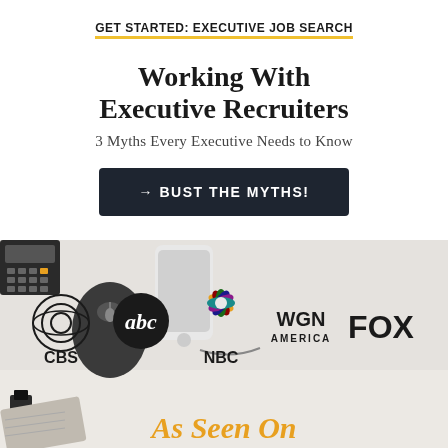GET STARTED: EXECUTIVE JOB SEARCH
Working With Executive Recruiters
3 Myths Every Executive Needs to Know
→ BUST THE MYTHS!
[Figure (photo): Desk scene with mouse, smartphone, calculator, binder clips, and notebook on a light surface]
[Figure (logo): Media logos: CBS, abc, NBC, WGN America, FOX]
As Seen On